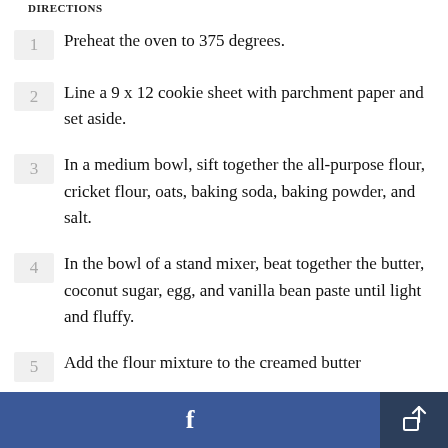DIRECTIONS
Preheat the oven to 375 degrees.
Line a 9 x 12 cookie sheet with parchment paper and set aside.
In a medium bowl, sift together the all-purpose flour, cricket flour, oats, baking soda, baking powder, and salt.
In the bowl of a stand mixer, beat together the butter, coconut sugar, egg, and vanilla bean paste until light and fluffy.
Add the flour mixture to the creamed butter